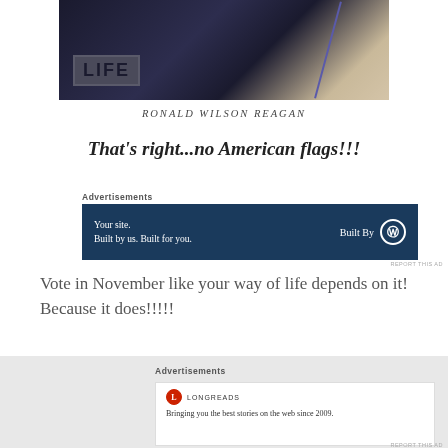[Figure (photo): Photo showing a dark navy blue jacket/vest with a LIFE magazine badge patch on it, with a diagonal purple/blue stripe element visible]
RONALD WILSON REAGAN
That's right...no American flags!!!
Advertisements
[Figure (other): Advertisement banner: Your site. Built by us. Built for you. Built By WordPress logo]
Vote in November like your way of life depends on it! Because it does!!!!!
Advertisements
[Figure (other): Longreads advertisement: Bringing you the best stories on the web since 2009.]